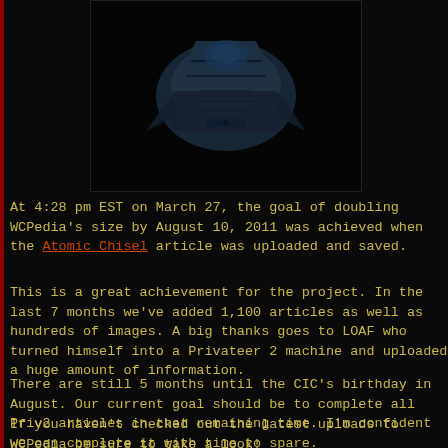[Figure (photo): Partial view of a dark blue/black spaceship or mechanical craft against a black background]
At 4:28 pm EST on March 27, the goal of doubling WCPedia's size by August 10, 2011 was achieved when the Atomic Chisel article was uploaded and saved.
This is a great achievement for the project. In the last 7 months we've added 1,100 articles as well as hundreds of images. A big thanks goes to LOAF who turned himself into a Privateer 2 machine and uploaded a huge amount of information.
There are still 5 months until the CIC's birthday in August. Our current goal should be to complete all Priv2 articles in that remaining time. I'm confident we can complete it with time to spare.
If you haven't checked out the latest uploads to WCPedia be sure to take a look!